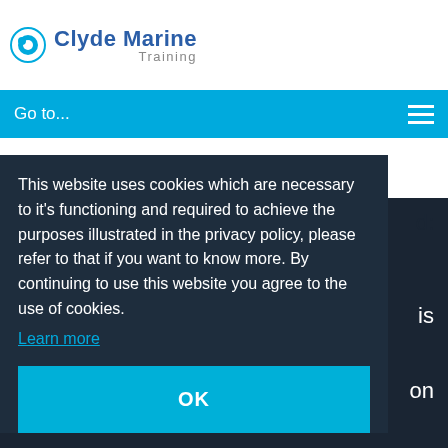Clyde Marine Training
Go to...
Eastern UK and chair of the
This website uses cookies which are necessary to it's functioning and required to achieve the purposes illustrated in the privacy policy, please refer to that if you want to know more. By continuing to use this website you agree to the use of cookies.
Learn more
OK